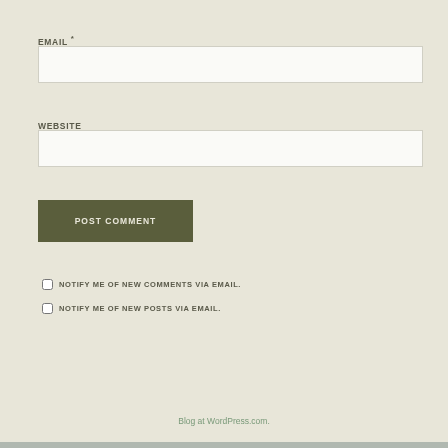EMAIL *
WEBSITE
POST COMMENT
NOTIFY ME OF NEW COMMENTS VIA EMAIL.
NOTIFY ME OF NEW POSTS VIA EMAIL.
Blog at WordPress.com.